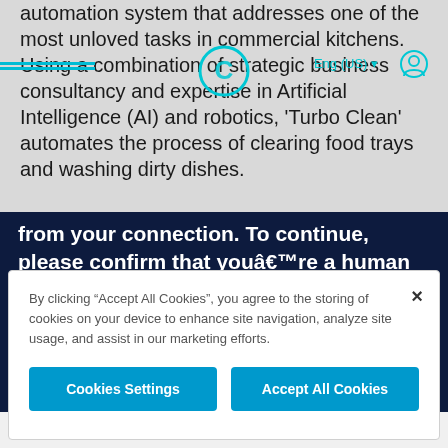automation system that addresses one of the most unloved tasks in commercial kitchens. Using a combination of strategic business consultancy and expertise in Artificial Intelligence (AI) and robotics, 'Turbo Clean' automates the process of clearing food trays and washing dirty dishes.
[Figure (screenshot): Dark navy CAPTCHA overlay with white bold text reading: 'from your connection. To continue, please confirm that youâ€™re a human (and not a spambot).' with a white reCAPTCHA checkbox widget below saying 'I'm not a robot']
By clicking “Accept All Cookies”, you agree to the storing of cookies on your device to enhance site navigation, analyze site usage, and assist in our marketing efforts.
Cookies Settings
Accept All Cookies